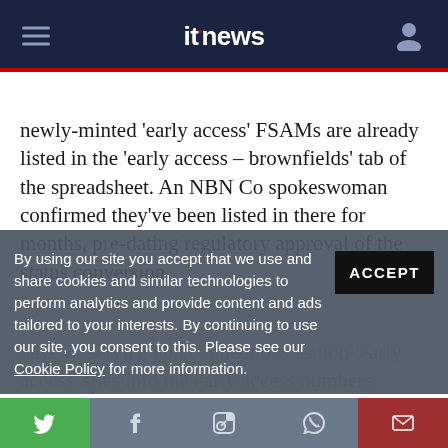itnews
newly-minted 'early access' FSAMs are already listed in the 'early access – brownfields' tab of the spreadsheet. An NBN Co spokeswoman confirmed they've been listed in there for months, pre-dating regulatory approval of the status conversion.
By using our site you accept that we use and share cookies and similar technologies to perform analytics and provide content and ads tailored to your interests. By continuing to use our site, you consent to this. Please see our Cookie Policy for more information.